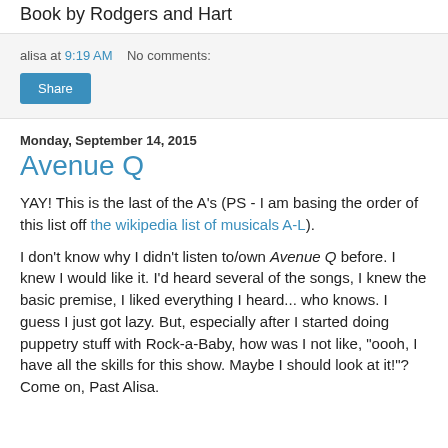Book by Rodgers and Hart
alisa at 9:19 AM    No comments:
Share
Monday, September 14, 2015
Avenue Q
YAY! This is the last of the A's (PS - I am basing the order of this list off the wikipedia list of musicals A-L).
I don't know why I didn't listen to/own Avenue Q before. I knew I would like it. I'd heard several of the songs, I knew the basic premise, I liked everything I heard... who knows. I guess I just got lazy. But, especially after I started doing puppetry stuff with Rock-a-Baby, how was I not like, "oooh, I have all the skills for this show. Maybe I should look at it!"? Come on, Past Alisa.